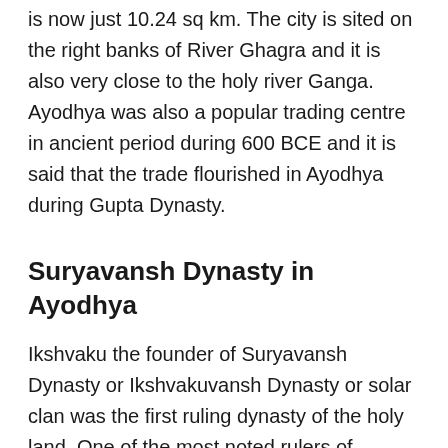is now just 10.24 sq km. The city is sited on the right banks of River Ghagra and it is also very close to the holy river Ganga. Ayodhya was also a popular trading centre in ancient period during 600 BCE and it is said that the trade flourished in Ayodhya during Gupta Dynasty.
Suryavansh Dynasty in Ayodhya
Ikshvaku the founder of Suryavansh Dynasty or Ikshvakuvansh Dynasty or solar clan was the first ruling dynasty of the holy land. One of the most noted rulers of Suryavansh Dynasty was King Dasharatha who was the 63th ruler of the Suryavansh Dynasty. King Dasharatha was the father of Lord Rama who was the 7th avatar of Lord Vishnu.